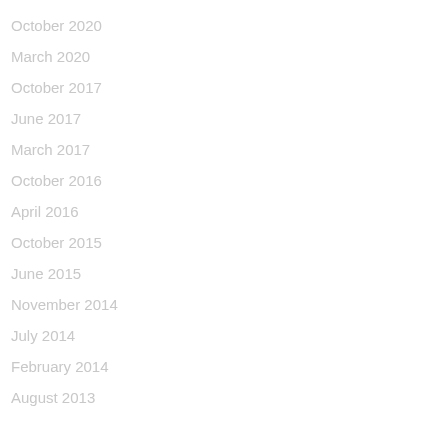October 2020
March 2020
October 2017
June 2017
March 2017
October 2016
April 2016
October 2015
June 2015
November 2014
July 2014
February 2014
August 2013